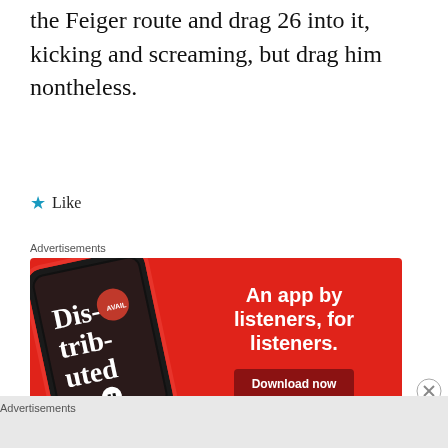the Feiger route and drag 26 into it, kicking and screaming, but drag him nontheless.
★ Like
Advertisements
[Figure (illustration): Advertisement banner with red background showing a smartphone displaying a podcast app with 'Dis-trib-uted' text, and the tagline 'An app by listeners, for listeners.' with a 'Download now' button.]
Advertisements